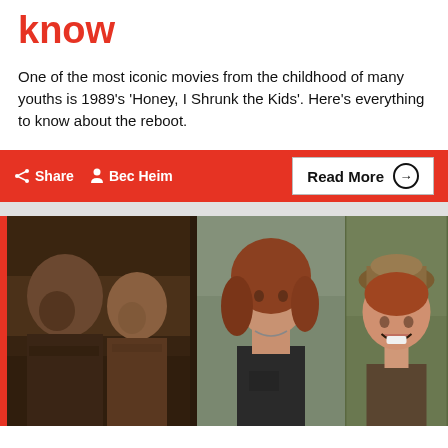know
One of the most iconic movies from the childhood of many youths is 1989's 'Honey, I Shrunk the Kids'. Here's everything to know about the reboot.
Share  Bec Heim  Read More →
[Figure (photo): Collage of three movie/TV show photos: two men (one in dark jacket, one in military-style outfit) on the left, a red-haired woman in the center, and a smiling red-haired child on the right]